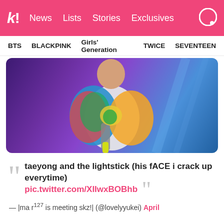k! News Lists Stories Exclusives
BTS BLACKPINK Girls' Generation TWICE SEVENTEEN
[Figure (photo): K-pop artist performing on stage wearing a colorful painted jacket and white graphic t-shirt, holding a yellow lightstick, against a purple stage background with blue lighting beams]
taeyong and the lightstick (his fACE i crack up everytime)
pic.twitter.com/XIIwxBOBhb
— |ma r^127 is meeting skz!| (@lovelyyukei) April